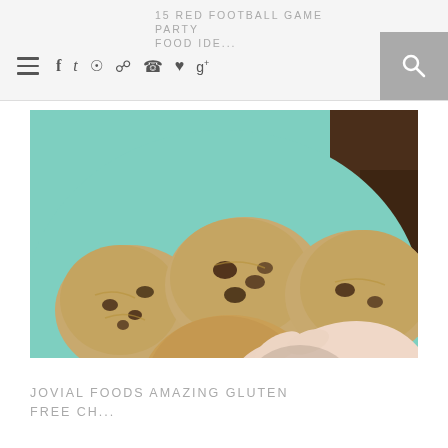15 RED FOOTBALL GAME PARTY FOOD IDE...
[Figure (photo): Child's hands reaching for chocolate chip cookies on a turquoise/teal plate, viewed from above.]
JOVIAL FOODS AMAZING GLUTEN FREE CH...